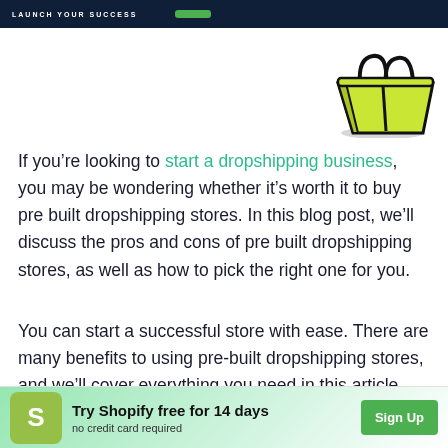LAUNCH YOUR SUCCESS
[Figure (illustration): Illustration of a yellow-green shopping bag with dark outline, viewed from above at an angle]
If you’re looking to start a dropshipping business, you may be wondering whether it’s worth it to buy pre built dropshipping stores. In this blog post, we’ll discuss the pros and cons of pre built dropshipping stores, as well as how to pick the right one for you.
You can start a successful store with ease. There are many benefits to using pre-built dropshipping stores, and we’ll cover everything you need in this article. We’ll also reveal the [redacted]
[Figure (infographic): Shopify banner advertisement: Try Shopify free for 14 days, no credit card required, with Sign Up button]